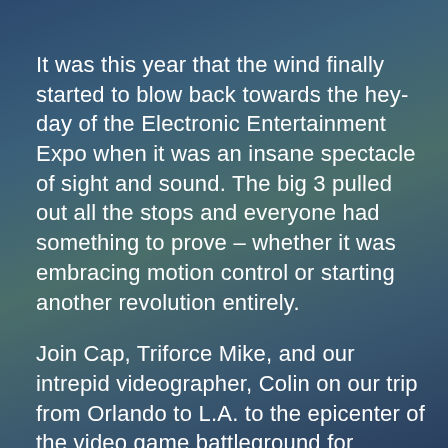It was this year that the wind finally started to blow back towards the hey-day of the Electronic Entertainment Expo when it was an insane spectacle of sight and sound. The big 3 pulled out all the stops and everyone had something to prove – whether it was embracing motion control or starting another revolution entirely.

Join Cap, Triforce Mike, and our intrepid videographer, Colin on our trip from Orlando to L.A. to the epicenter of the video game battleground for